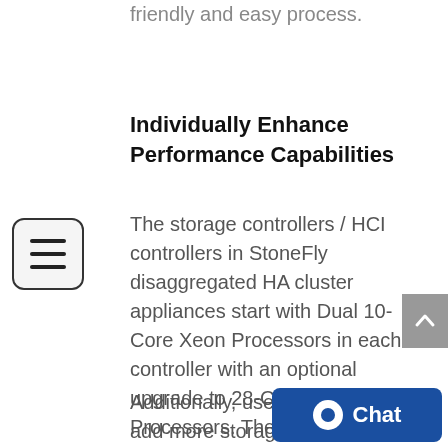friendly and easy process.
Individually Enhance Performance Capabilities
The storage controllers / HCI controllers in StoneFly disaggregated HA cluster appliances start with Dual 10-Core Xeon Processors in each controller with an optional upgrade to 28-Core Xeon Processors. The standard system memory in each controller is 64GB and it can be upgraded to 6TB in each node.
Additionally, users can choose to add more storage controller / HCI